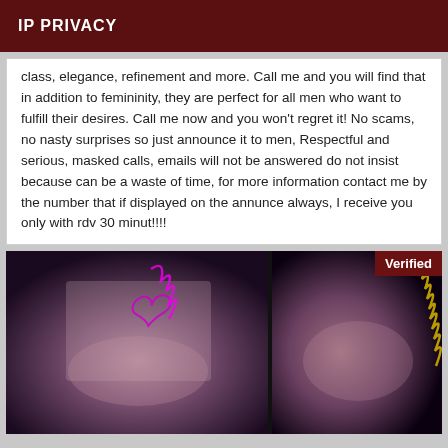IP PRIVACY
class, elegance, refinement and more. Call me and you will find that in addition to femininity, they are perfect for all men who want to fulfill their desires. Call me now and you won't regret it! No scams, no nasty surprises so just announce it to men, Respectful and serious, masked calls, emails will not be answered do not insist because can be a waste of time, for more information contact me by the number that if displayed on the annunce always, I receive you only with rdv 30 minut!!!!
[Figure (photo): Two side-by-side photos with decorative overlay text/graphics and a Verified badge in the top right corner]